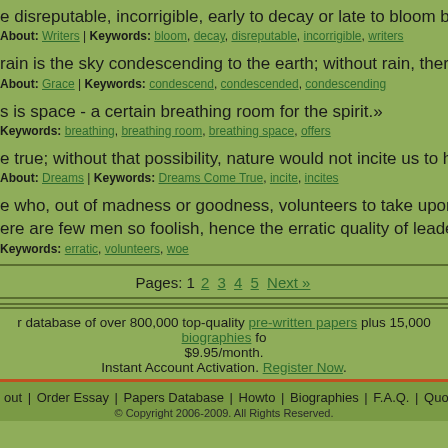e disreputable, incorrigible, early to decay or late to bloom but they dare
About: Writers | Keywords: bloom, decay, disreputable, incorrigible, writers
rain is the sky condescending to the earth; without rain, there would be n
About: Grace | Keywords: condescend, condescended, condescending
s is space - a certain breathing room for the spirit.»
Keywords: breathing, breathing room, breathing space, offers
e true; without that possibility, nature would not incite us to have them.»
About: Dreams | Keywords: Dreams Come True, incite, incites
e who, out of madness or goodness, volunteers to take upon himself the
ere are few men so foolish, hence the erratic quality of leadership in the w
Keywords: erratic, volunteers, woe
Pages: 1 2 3 4 5 Next »
r database of over 800,000 top-quality pre-written papers plus 15,000 biographies fo
$9.95/month.
Instant Account Activation. Register Now.
out | Order Essay | Papers Database | Howto | Biographies | F.A.Q. | Quotes | Contact
© Copyright 2006-2009. All Rights Reserved.